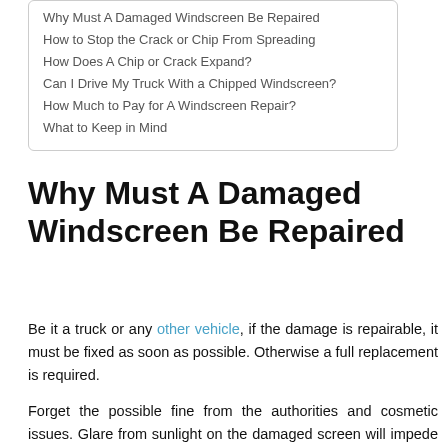Why Must A Damaged Windscreen Be Repaired
How to Stop the Crack or Chip From Spreading
How Does A Chip or Crack Expand?
Can I Drive My Truck With a Chipped Windscreen?
How Much to Pay for A Windscreen Repair?
What to Keep in Mind
Why Must A Damaged Windscreen Be Repaired
Be it a truck or any other vehicle, if the damage is repairable, it must be fixed as soon as possible. Otherwise a full replacement is required.
Forget the possible fine from the authorities and cosmetic issues. Glare from sunlight on the damaged screen will impede your vision. When this happens, it is possible to